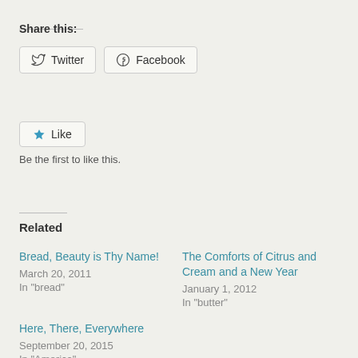Share this:
Twitter  Facebook
Like
Be the first to like this.
Related
Bread, Beauty is Thy Name!
March 20, 2011
In "bread"
The Comforts of Citrus and Cream and a New Year
January 1, 2012
In "butter"
Here, There, Everywhere
September 20, 2015
In "America"